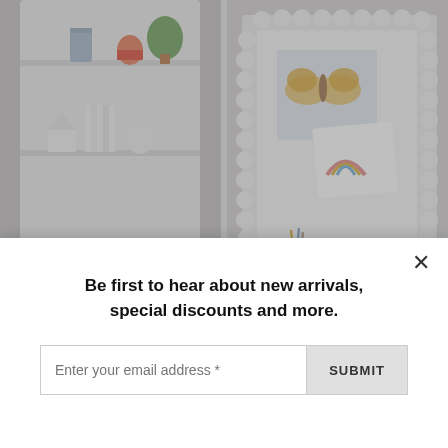[Figure (photo): Photo of a white wall-mounted shelving unit with decorative items: a plant, pink and white ceramic containers, books, small white house figurines, and small orange/brown decorative objects on multiple shelves. Light grey background.]
[Figure (photo): Photo of a white pinboard with a bubble/bobble ball-shaped frame border, showing pinned cards including a butterfly illustration and a rainbow card. A pencil holder and small bowl sit on a light wood surface beneath it.]
Shelving
Pinboards & Calendars
Be first to hear about new arrivals, special discounts and more.
Enter your email address *
SUBMIT